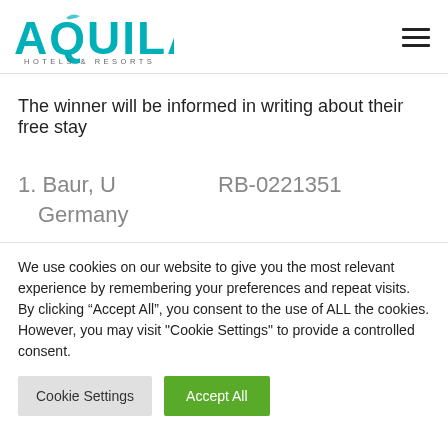[Figure (logo): Aquila Hotels & Resorts logo with teal text and a small bird graphic, plus hamburger menu icon on the right]
The winner will be informed in writing about their free stay
1. Baur, U     RB-0221351
   Germany
We use cookies on our website to give you the most relevant experience by remembering your preferences and repeat visits. By clicking “Accept All”, you consent to the use of ALL the cookies. However, you may visit "Cookie Settings" to provide a controlled consent.
Cookie Settings | Accept All